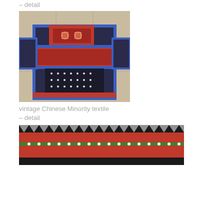– detail
[Figure (photo): vintage Chinese Minority textile garment laid flat, showing intricate embroidered patterns in red, blue, black and white geometric designs]
vintage Chinese Minority textile
– detail
[Figure (photo): partial view of another vintage Chinese Minority textile with colorful geometric border patterns in red, black, white and green]